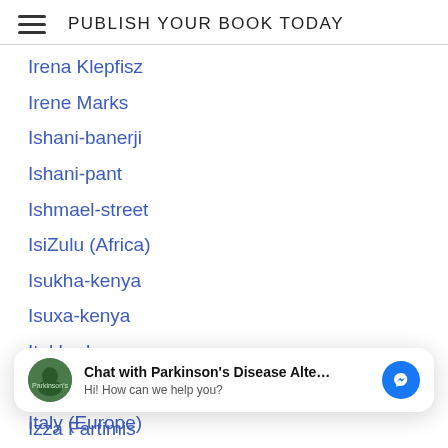PUBLISH YOUR BOOK TODAY
Irena Klepfisz
Irene Marks
Ishani-banerji
Ishani-pant
Ishmael-street
IsiZulu (Africa)
Isukha-kenya
Isuxa-kenya
Itakho-kenya
Italian Italiano (Italy)
Italy (Europe)
It-works
Itzela-sosa
Ixxi-loff
Chat with Parkinson's Disease Alte... Hi! How can we help you?
Izza Fartimis